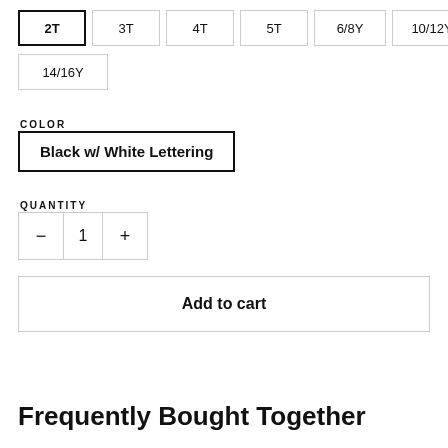2T, 3T, 4T, 5T, 6/8Y, 10/12Y, 14/16Y (size selector)
COLOR
Black w/ White Lettering
QUANTITY
1
Add to cart
Frequently Bought Together